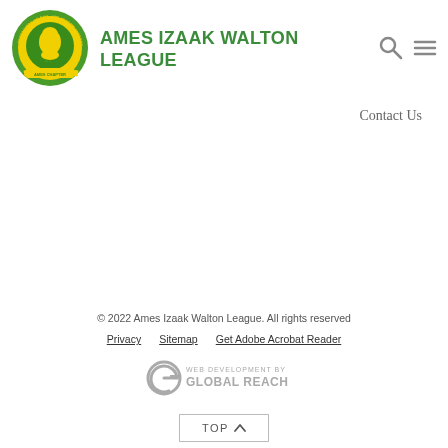[Figure (logo): Ames Izaak Walton League circular logo with yellow and green colors, featuring a portrait in the center and text around the border reading 'DEFENDERS OF SOIL, AIR, WOODS, WATERS AND WILDLIFE' and 'AMES CHAPTER' on a banner]
AMES IZAAK WALTON LEAGUE
Contact Us
© 2022 Ames Izaak Walton League. All rights reserved
Privacy   Sitemap   Get Adobe Acrobat Reader
[Figure (logo): Global Reach logo with stylized G icon and text 'WEB DEVELOPMENT BY GLOBAL REACH']
TOP ^